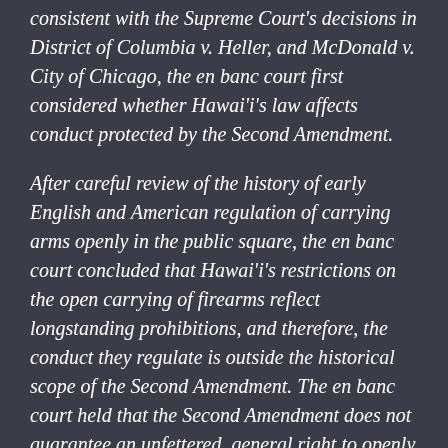consistent with the Supreme Court's decisions in District of Columbia v. Heller, and McDonald v. City of Chicago, the en banc court first considered whether Hawai'i's law affects conduct protected by the Second Amendment.
After careful review of the history of early English and American regulation of carrying arms openly in the public square, the en banc court concluded that Hawai'i's restrictions on the open carrying of firearms reflect longstanding prohibitions, and therefore, the conduct they regulate is outside the historical scope of the Second Amendment. The en banc court held that the Second Amendment does not guarantee an unfettered, general right to openly carry arms in public for individual self-defense. Accordingly, Hawai'i's firearms-